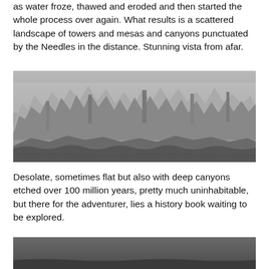as water froze, thawed and eroded and then started the whole process over again. What results is a scattered landscape of towers and mesas and canyons punctuated by the Needles in the distance. Stunning vista from afar.
[Figure (photo): Black and white panoramic photograph of tall rock formations, spires, and mesas in a desert canyon landscape, likely the Needles district of Canyonlands. Rocky foreground leads to a dramatic skyline of eroded sandstone towers.]
Desolate, sometimes flat but also with deep canyons etched over 100 million years, pretty much uninhabitable, but there for the adventurer, lies a history book waiting to be explored.
[Figure (photo): Partial black and white photograph visible at bottom of page, showing a dark overcast sky and flat landscape, likely another view of the Canyonlands or similar desert terrain.]